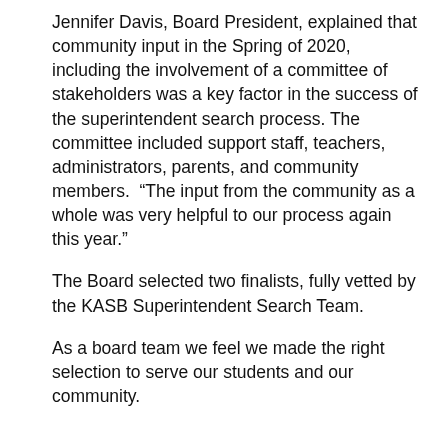Jennifer Davis, Board President, explained that community input in the Spring of 2020, including the involvement of a committee of stakeholders was a key factor in the success of the superintendent search process. The committee included support staff, teachers, administrators, parents, and community members.  “The input from the community as a whole was very helpful to our process again this year.”
The Board selected two finalists, fully vetted by the KASB Superintendent Search Team.
As a board team we feel we made the right selection to serve our students and our community.